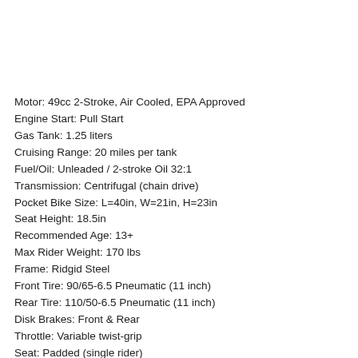Motor: 49cc 2-Stroke, Air Cooled, EPA Approved
Engine Start: Pull Start
Gas Tank: 1.25 liters
Cruising Range: 20 miles per tank
Fuel/Oil: Unleaded / 2-stroke Oil 32:1
Transmission: Centrifugal (chain drive)
Pocket Bike Size: L=40in, W=21in, H=23in
Seat Height: 18.5in
Recommended Age: 13+
Max Rider Weight: 170 lbs
Frame: Ridgid Steel
Front Tire: 90/65-6.5 Pneumatic (11 inch)
Rear Tire: 110/50-6.5 Pneumatic (11 inch)
Disk Brakes: Front & Rear
Throttle: Variable twist-grip
Seat: Padded (single rider)
Handlebars: Angle Adjustable, Not Height
Assembly Required: Yes
Box Size: 43x15x26 inches